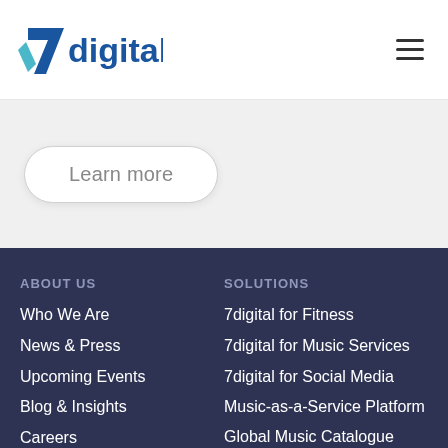[Figure (logo): 7digital logo with blue angular 7 and 'digital' text in blue]
Learn more
ABOUT US
Who We Are
News & Press
Upcoming Events
Blog & Insights
Careers
SOLUTIONS
7digital for Fitness
7digital for Music Services
7digital for Social Media
Music-as-a-Service Platform
Global Music Catalogue